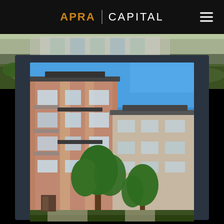APRA | CAPITAL
[Figure (photo): Outdoor greenery and modern building exterior background strip at top of page]
[Figure (photo): Modern multi-story residential apartment building with brick facade, balconies, large windows, and trees in front against a clear blue sky, framed within a dark navy card container]